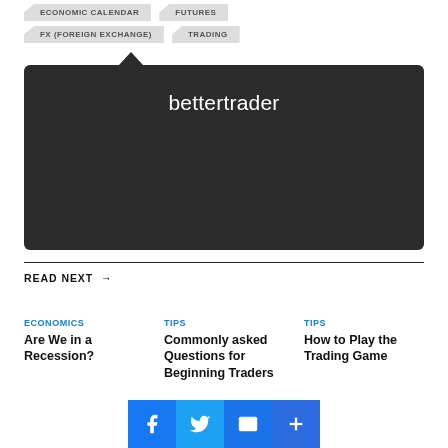ECONOMIC CALENDAR
FUTURES
FX (FOREIGN EXCHANGE)
TRADING
[Figure (logo): Dark rounded rectangle with tooltip arrow pointer, containing white text 'bettertrader' logo on dark background #2b2b2b]
READ NEXT →
ECONOMICS
Are We in a Recession?
TIPS
Commonly asked Questions for Beginning Traders
TIPS
How to Play the Trading Game